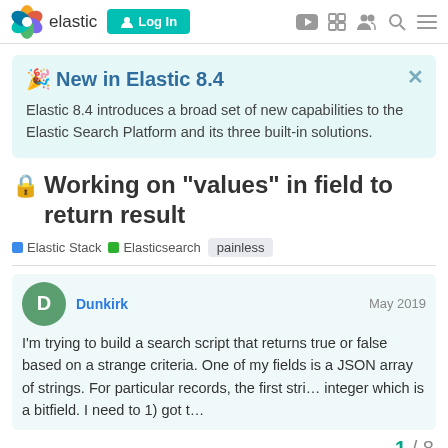elastic  Log In
🎉 New in Elastic 8.4
Elastic 8.4 introduces a broad set of new capabilities to the Elastic Search Platform and its three built-in solutions.
🔒 Working on "values" in field to return result
Elastic Stack  Elasticsearch  painless
Dunkirk  May 2019
I'm trying to build a search script that returns true or false based on a strange criteria. One of my fields is a JSON array of strings. For particular records, the first stri... integer which is a bitfield. I need to 1) got t...